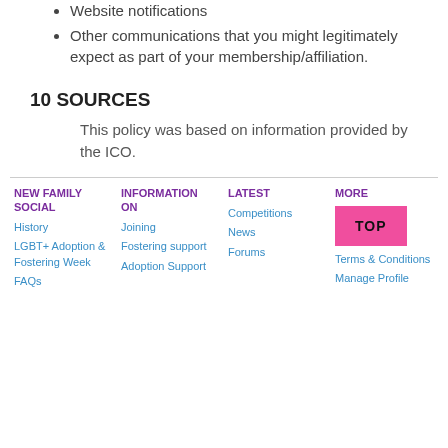Website notifications
Other communications that you might legitimately expect as part of your membership/affiliation.
10 SOURCES
This policy was based on information provided by the ICO.
NEW FAMILY SOCIAL | INFORMATION ON | LATEST | MORE
History | Joining | Competitions | Terms & Conditions
LGBT+ Adoption & Fostering Week | Fostering support | News | Manage Profile
FAQs | Adoption Support | Forums